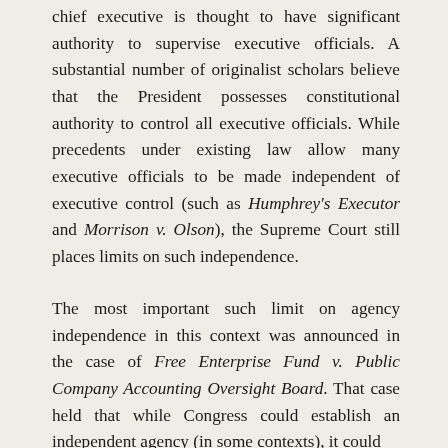chief executive is thought to have significant authority to supervise executive officials. A substantial number of originalist scholars believe that the President possesses constitutional authority to control all executive officials. While precedents under existing law allow many executive officials to be made independent of executive control (such as Humphrey's Executor and Morrison v. Olson), the Supreme Court still places limits on such independence.
The most important such limit on agency independence in this context was announced in the case of Free Enterprise Fund v. Public Company Accounting Oversight Board. That case held that while Congress could establish an independent agency (in some contexts), it could